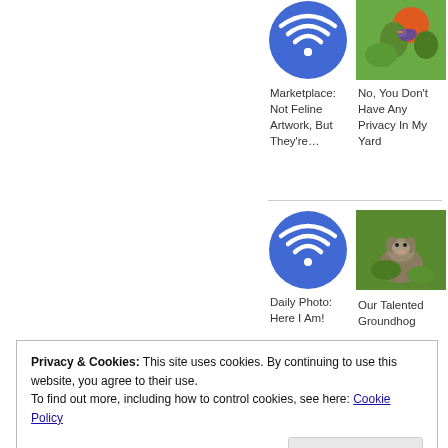[Figure (logo): Blue circle WiFi icon]
[Figure (photo): Bird on flowers]
Marketplace: Not Feline Artwork, But They're…
No, You Don't Have Any Privacy In My Yard
[Figure (logo): Blue circle WiFi icon]
[Figure (photo): Groundhog in plants]
Daily Photo: Here I Am!
Our Talented Groundhog
Privacy & Cookies: This site uses cookies. By continuing to use this website, you agree to their use.
To find out more, including how to control cookies, see here: Cookie Policy
Close and accept